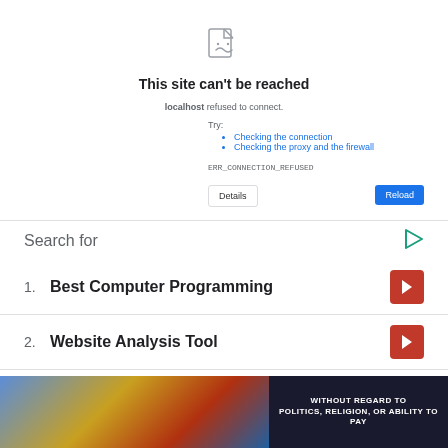[Figure (screenshot): Browser error page showing 'This site can't be reached' with a broken document icon, error message for localhost refused to connect, suggestions to check connection and proxy/firewall, ERR_CONNECTION_REFUSED code, and Details/Reload buttons.]
Search for
1. Best Computer Programming
2. Website Analysis Tool
3. Best Programming Languages 2021
[Figure (photo): Advertisement banner showing an airplane being loaded with cargo, with a dark overlay box reading WITHOUT REGARD TO POLITICS, RELIGION, OR ABILITY TO PAY]